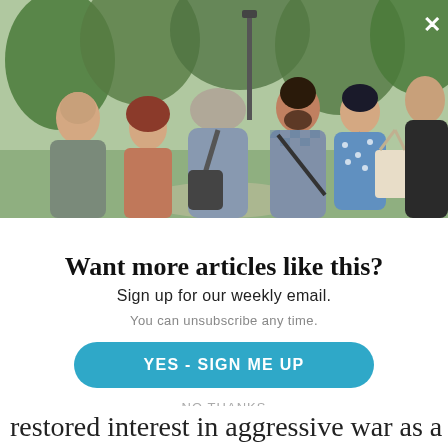[Figure (photo): Group of people standing outdoors in a park setting, having a conversation. A bald man on the left, a woman with curly red hair, an older man with gray hair seen from behind, a man with dark hair and beard wearing a checkered shirt with a messenger bag, a woman with short dark hair in a blue polka dot top, and a man in a dark jacket on the right. Trees and a lamp post visible in the background.]
Want more articles like this?
Sign up for our weekly email.
You can unsubscribe any time.
YES - SIGN ME UP
NO THANKS
restored interest in aggressive war as a